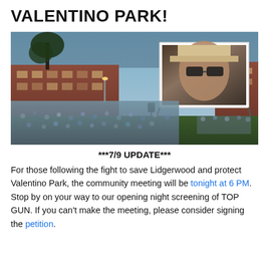VALENTINO PARK!
[Figure (photo): Outdoor movie screening at night in a park. A large crowd sits on the grass watching a movie projected on a large outdoor screen showing a close-up of a man wearing sunglasses and a hat. Buildings and trees are visible in the background with street lights.]
***7/9 UPDATE***
For those following the fight to save Lidgerwood and protect Valentino Park, the community meeting will be tonight at 6 PM. Stop by on your way to our opening night screening of TOP GUN. If you can't make the meeting, please consider signing the petition.